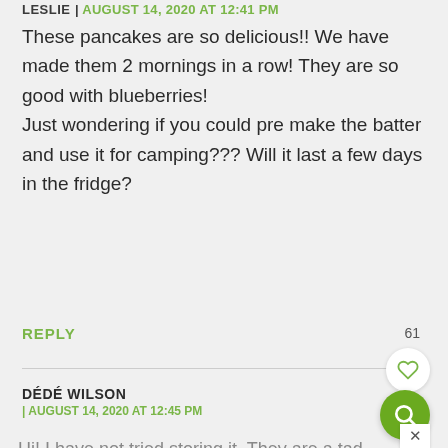LESLIE | AUGUST 14, 2020 AT 12:41 PM
These pancakes are so delicious!! We have made them 2 mornings in a row! They are so good with blueberries!
Just wondering if you could pre make the batter and use it for camping??? Will it last a few days in the fridge?
REPLY
61
DÉDÉ WILSON
| AUGUST 14, 2020 AT 12:45 PM
Hi! I have not tried storing it. They are a tad thin so pancakes go and if anything else...